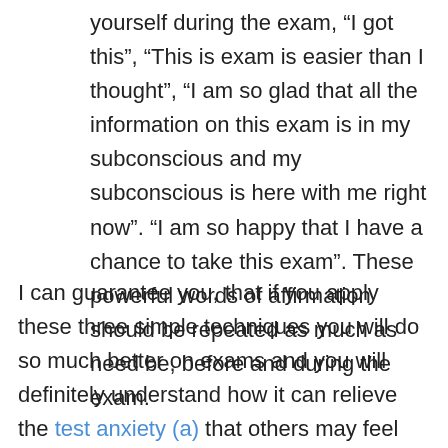yourself during the exam, “I got this”, “This is exam is easier than I thought”, “I am so glad that all the information on this exam is in my subconscious and my subconscious is here with me right now”. “I am so happy that I have a chance to take this exam”. These powerful words of affirmation should be repeated as much as need be, before and during the exam.
I can guarantee you, that if you apply these three simple techniques you will do so much better on exams and you will definitely understand how it can relieve the test anxiety (a) that others may feel during their exam, but not you because you have the tools for success and the (a) word is no longer a part of your vocabulary. One book that should be added to your reading list is the Power of the